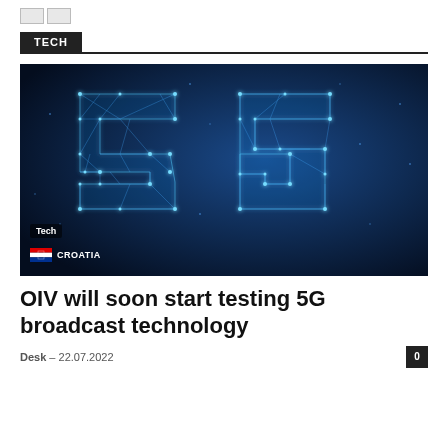TECH
[Figure (photo): 5G glowing blue network mesh letters forming '5G' on a dark blue background, with geometric polygon wireframe structure]
Tech / CROATIA
OIV will soon start testing 5G broadcast technology
Desk - 22.07.2022